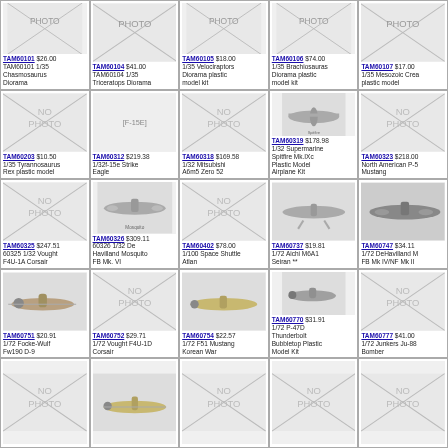| TAM60101 $26.00 TAM60101 1/35 Chasmosaurus Diorama | TAM60104 $41.00 TAM60104 1/35 Triceratops Diorama | TAM60105 $18.00 1/35 Velociraptors Diorama plastic model kit | TAM60106 $74.00 1/35 Brachiosauras Diorama plastic model kit | TAM60107 $17.00 1/35 Mesozoic Creatures plastic model |
| TAM60203 $10.50 1/35 Tyrannosaurus Rex plastic model | TAM60312 $219.38 1/32f-15e Strike Eagle | TAM60318 $169.58 1/32 Mitsubishi A6m5 Zero 52 | TAM60319 $178.98 1/32 Supermarine Spitfire Mk.IXc Plastic Model Airplane Kit | TAM60323 $218.00 North American P-51 Mustang |
| TAM60325 $247.51 60325 1/32 Vought F4U-1A Corsair | TAM60326 $309.11 60326 1/32 De Havilland Mosquito FB Mk. VI | TAM60402 $78.00 1/100 Space Shuttle Atlan | TAM60737 $19.81 1/72 Aichi M6A1 Seiran ** | TAM60747 $34.11 1/72 DeHavilland Mosquito FB Mk IV/NF Mk II |
| TAM60751 $20.91 1/72 Focke-Wulf Fw190 D-9 | TAM60752 $29.71 1/72 Vought F4U-1D Corsair | TAM60754 $22.57 1/72 F51 Mustang Korean War | TAM60770 $31.91 1/72 P-47D Thunderbolt Bubbletop Plastic Model Kit | TAM60777 $41.00 1/72 Junkers Ju-88 Bomber |
| (no photo) | (aircraft image) | (no photo) | (no photo) | (no photo) |